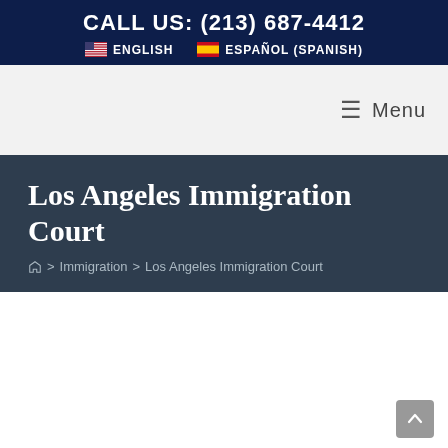CALL US: (213) 687-4412
ENGLISH   ESPAÑOL (SPANISH)
Menu
Los Angeles Immigration Court
Home > Immigration > Los Angeles Immigration Court
Llámenos – Call us now